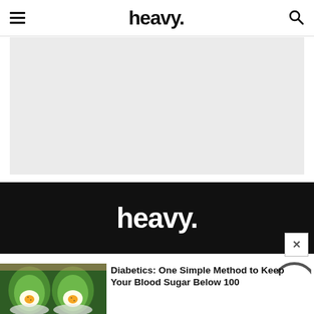heavy.
[Figure (other): Light grey advertisement placeholder rectangle]
[Figure (logo): Heavy.com logo in white text on black background banner]
[Figure (photo): Two avocado halves with eggs baked inside them, served in bowls]
Diabetics: One Simple Method to Keep Your Blood Sugar Below 100